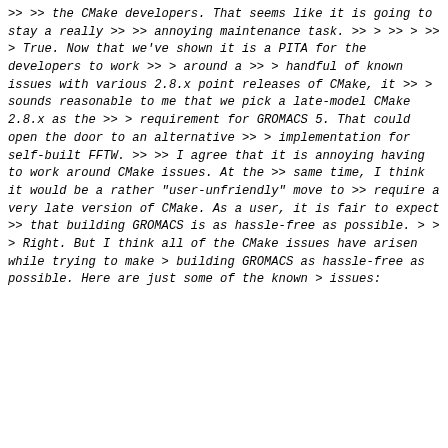>> >> the CMake developers. That seems like it is going to stay a really
>> >> annoying maintenance task.
>> >
>> >
>> > True. Now that we've shown it is a PITA for the developers to work
>> > around a
>> > handful of known issues with various 2.8.x point releases of CMake, it
>> > sounds reasonable to me that we pick a late-model CMake 2.8.x as the
>> > requirement for GROMACS 5. That could open the door to an alternative
>> > implementation for self-built FFTW.
>>
>> I agree that it is annoying having to work around CMake issues. At the
>> same time, I think it would be a rather "user-unfriendly" move to
>> require a very late version of CMake. As a user, it is fair to expect
>> that building GROMACS is as hassle-free as possible.
>
>
> Right. But I think all of the CMake issues have arisen while trying to make
> building GROMACS as hassle-free as possible. Here are just some of the known
> issues: